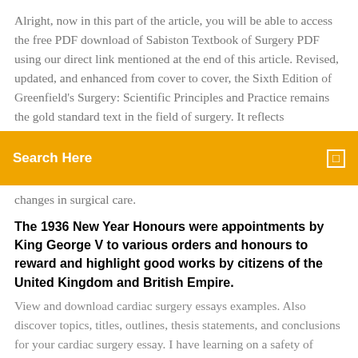Alright, now in this part of the article, you will be able to access the free PDF download of Sabiston Textbook of Surgery PDF using our direct link mentioned at the end of this article. Revised, updated, and enhanced from cover to cover, the Sixth Edition of Greenfield's Surgery: Scientific Principles and Practice remains the gold standard text in the field of surgery. It reflects
[Figure (other): Orange search bar with text 'Search Here' on the left and a small icon on the right]
changes in surgical care.
The 1936 New Year Honours were appointments by King George V to various orders and honours to reward and highlight good works by citizens of the United Kingdom and British Empire.
View and download cardiac surgery essays examples. Also discover topics, titles, outlines, thesis statements, and conclusions for your cardiac surgery essay. I have learning on a safety of eligible ll to be to the NICU where Rose nicknamed her